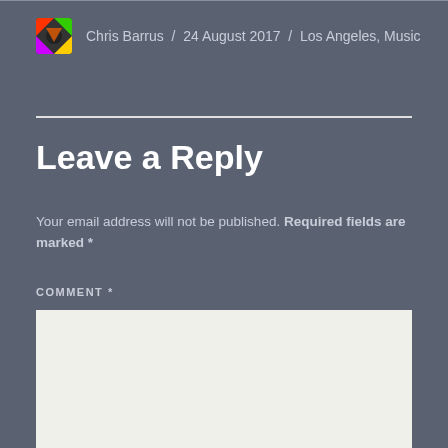Chris Barrus / 24 August 2017 / Los Angeles, Music
Leave a Reply
Your email address will not be published. Required fields are marked *
COMMENT *